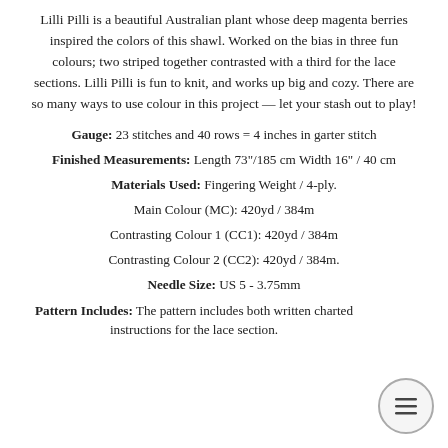Lilli Pilli is a beautiful Australian plant whose deep magenta berries inspired the colors of this shawl. Worked on the bias in three fun colours; two striped together contrasted with a third for the lace sections. Lilli Pilli is fun to knit, and works up big and cozy. There are so many ways to use colour in this project — let your stash out to play!
Gauge: 23 stitches and 40 rows = 4 inches in garter stitch
Finished Measurements: Length 73"/185 cm Width 16" / 40 cm
Materials Used: Fingering Weight / 4-ply.
Main Colour (MC): 420yd / 384m
Contrasting Colour 1 (CC1): 420yd / 384m
Contrasting Colour 2 (CC2): 420yd / 384m.
Needle Size: US 5 - 3.75mm
Pattern Includes: The pattern includes both written charted instructions for the lace section.